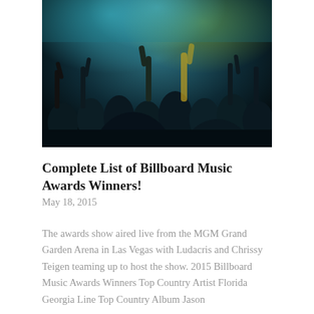[Figure (photo): Concert crowd with hands raised in the air, lit by blue and green stage lighting, dark atmospheric background.]
Complete List of Billboard Music Awards Winners!
May 18, 2015
The awards show aired live from the MGM Grand Garden Arena in Las Vegas with Ludacris and Chrissy Teigen teaming up to host the show. 2015 Billboard Music Awards Winners Top Country Artist Florida Georgia Line Top Country Album Jason